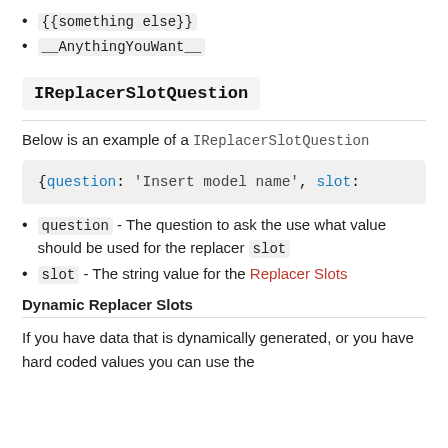{{something else}}
__AnythingYouWant__
IReplacerSlotQuestion
Below is an example of a IReplacerSlotQuestion
[Figure (screenshot): Code block showing: {question: 'Insert model name', slot:]
question - The question to ask the use what value should be used for the replacer slot
slot - The string value for the Replacer Slots
Dynamic Replacer Slots
If you have data that is dynamically generated, or you have hard coded values you can use the